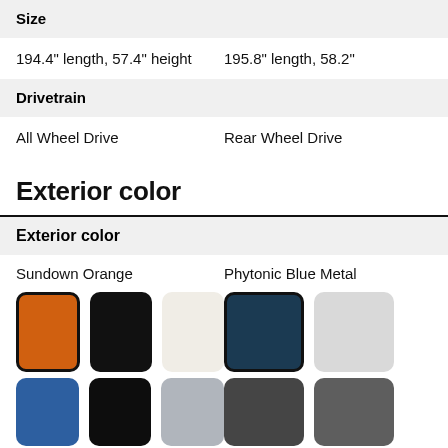Size
|  |  |
| --- | --- |
| 194.4" length, 57.4" height | 195.8" length, 58.2" |
Drivetrain
|  |  |
| --- | --- |
| All Wheel Drive | Rear Wheel Drive |
Exterior color
Exterior color
Sundown Orange | Phytonic Blue Metal
[Figure (illustration): Color swatches: orange (selected), black, off-white in left column; navy (selected), light gray in right column]
[Figure (illustration): Color swatches row 2: blue, black, silver-gray in left; dark gray, medium gray in right]